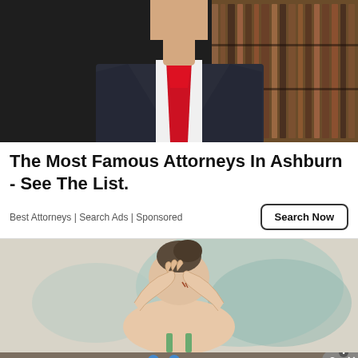[Figure (photo): Photo of a lawyer/attorney in a dark suit with a red tie, standing in front of bookshelves, cropped to show torso and lower face only]
The Most Famous Attorneys In Ashburn - See The List.
Best Attorneys | Search Ads | Sponsored
[Figure (illustration): Illustration of a person scratching the back of their head/neck, drawn in a medical/editorial cartoon style with watercolor teal background hints]
[Figure (infographic): Advertisement banner with blue people icons and text 'Hold and Move' on a wooden/tan striped background, with question mark and X close buttons in top right]